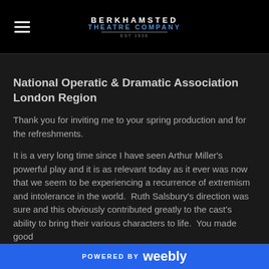BERKHAMSTED THEATRE COMPANY
National Operatic & Dramatic Association London Region
Thank you for inviting me to your spring production and for the refreshments.
It is a very long time since I have seen Arthur Miller's powerful play and it is as relevant today as it ever was now that we seem to be experiencing a recurrence of extremism and intolerance in the world.  Ruth Salsbury's direction was sure and this obviously contributed greatly to the cast's ability to bring their various characters to life.  You made good
POWERED BY weebly